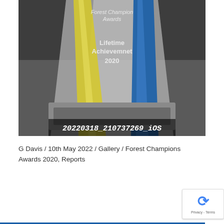[Figure (photo): A close-up photo of a glass award trophy with yellow and blue acrylic inserts on a rectangular base. Text on the trophy reads 'Forest Champion Awards', 'Lifetime Achievemnet 2020'. A filename watermark '20220318_210737269_iOS' is visible at the bottom of the image.]
G Davis / 10th May 2022 / Gallery / Forest Champions Awards 2020, Reports